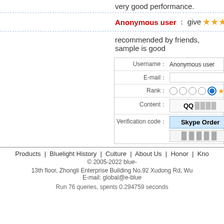very good performance.
Anonymous user give ★★★★ point
recommended by friends, sample is good
| Field | Value |
| --- | --- |
| Username： | Anonymous user |
| E-mail： |  |
| Rank： | ○ ○ ○ ○ ● ★★ |
| Content： | QQ ████  [Skype Order] |
| Verification code： | Skype Order / █████ |
Products | Bluelight History | Culture | About Us | Honor | Kno... © 2005-2022 blue-... 13th floor, Zhongli Enterprise Building No.92 Xudong Rd, Wu... E-mail: global@e-blue...
Run 76 queries, spents 0.294759 seconds